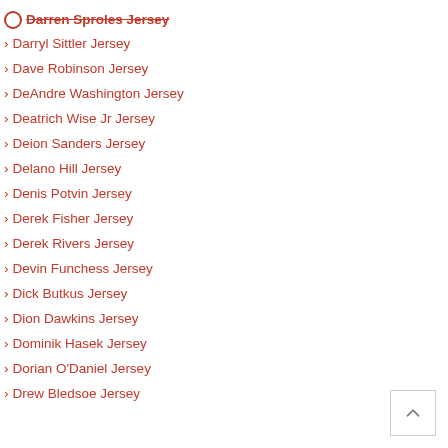Darren Sproles Jersey
Darryl Sittler Jersey
Dave Robinson Jersey
DeAndre Washington Jersey
Deatrich Wise Jr Jersey
Deion Sanders Jersey
Delano Hill Jersey
Denis Potvin Jersey
Derek Fisher Jersey
Derek Rivers Jersey
Devin Funchess Jersey
Dick Butkus Jersey
Dion Dawkins Jersey
Dominik Hasek Jersey
Dorian O'Daniel Jersey
Drew Bledsoe Jersey